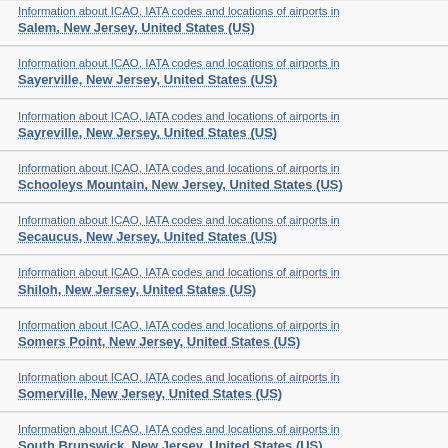Information about ICAO, IATA codes and locations of airports in Salem, New Jersey, United States (US)
Information about ICAO, IATA codes and locations of airports in Sayerville, New Jersey, United States (US)
Information about ICAO, IATA codes and locations of airports in Sayreville, New Jersey, United States (US)
Information about ICAO, IATA codes and locations of airports in Schooleys Mountain, New Jersey, United States (US)
Information about ICAO, IATA codes and locations of airports in Secaucus, New Jersey, United States (US)
Information about ICAO, IATA codes and locations of airports in Shiloh, New Jersey, United States (US)
Information about ICAO, IATA codes and locations of airports in Somers Point, New Jersey, United States (US)
Information about ICAO, IATA codes and locations of airports in Somerville, New Jersey, United States (US)
Information about ICAO, IATA codes and locations of airports in South Brunswick, New Jersey, United States (US)
Information about ICAO, IATA codes and locations of airports in South Orange, New Jersey, United States (US)